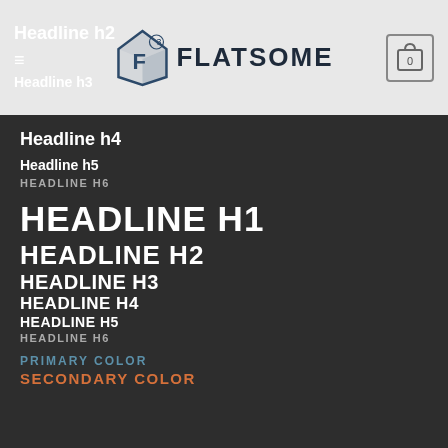Headline h2 ☰ Headline h3 — FLATSOME — 0
Headline h4
Headline h5
HEADLINE H6
HEADLINE H1
HEADLINE H2
HEADLINE H3
HEADLINE H4
HEADLINE H5
HEADLINE H6
PRIMARY COLOR
SECONDARY COLOR